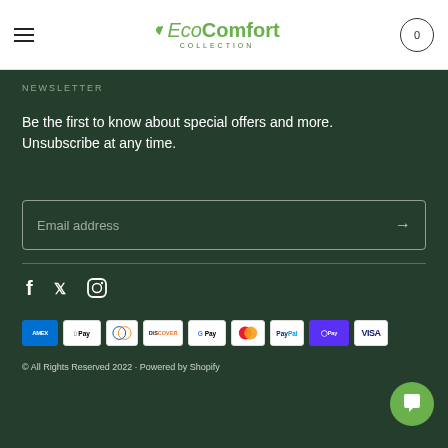EcoComfort Collection — navigation header with hamburger menu and cart (0)
NEWSLETTER
Be the first to know about special offers and more. Unsubscribe at any time.
Email address
[Figure (infographic): Social media icons: Facebook, Twitter, Instagram]
[Figure (infographic): Payment method badges: Amex, Apple Pay, Diners Club, Discover, Google Pay, Mastercard, PayPal, Shop Pay, Visa]
© All Rights Reserved 2022 · Powered by Shopify